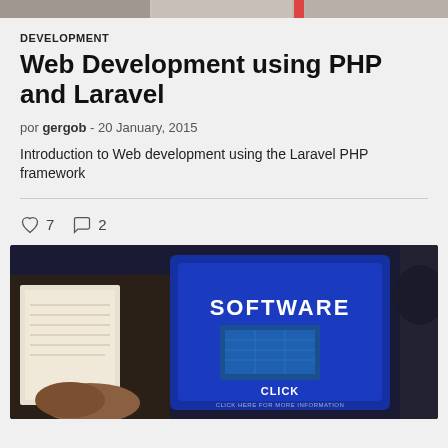[Figure (photo): Top banner strip showing partial images of people/content]
DEVELOPMENT
Web Development using PHP and Laravel
por gergob - 20 January, 2015
Introduction to Web development using the Laravel PHP framework
♡ 7   ○ 2
[Figure (photo): Photo of a laptop showing SOFTWARE text on screen with book and person in background]